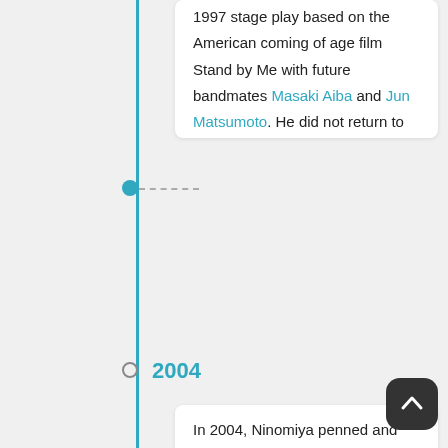1997 stage play based on the American coming of age film Stand by Me with future bandmates Masaki Aiba and Jun Matsumoto. He did not return to do any major stage productions for nearly seven years after Stand by Me, instead focusing on dramas. However, in 2004, Ninomiya appeared in his first lead role in the stage play Shibuya Kara Tooku Hanarete (渋谷から遠く離れて) directed by Yukio Ninagawa. From April 3, 2005 to May 4, 2005, he took up Rebel Without a Cause, playing the James Dean character Jim Stark.
2004
In 2004, Ninomiya penned and composed